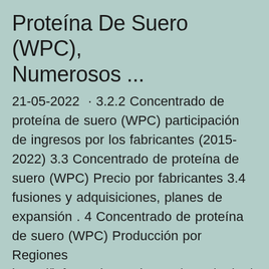Proteína De Suero (WPC), Numerosos ...
21-05-2022  · 3.2.2 Concentrado de proteína de suero (WPC) participación de ingresos por los fabricantes (2015-2022) 3.3 Concentrado de proteína de suero (WPC) Precio por fabricantes 3.4 fusiones y adquisiciones, planes de expansión . 4 Concentrado de proteína de suero (WPC) Producción por Regiones https://informedeestado.com/2022/05/21/mercado-concentrado-d